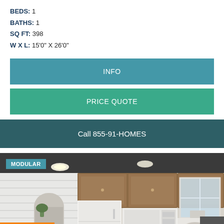BEDS: 1
BATHS: 1
SQ FT: 398
W X L: 15'0" X 26'0"
INFO
PRICE QUOTE
Call 855-91-HOMES
[Figure (photo): Interior kitchen photo of a modular home with wood cabinets, white appliances, white microwave, and white countertops. Tagged with MODULAR badge.]
Translate »